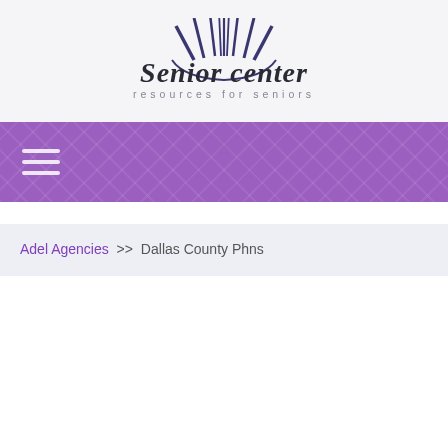[Figure (logo): Senior center logo with sunburst graphic above bold italic text 'Senior center' and subtitle 'resources for seniors' in grey spaced letters]
[Figure (other): Purple navigation banner with diamond/quilted texture pattern and hamburger menu icon (three horizontal lines) on the left]
Adel Agencies >> Dallas County Phns